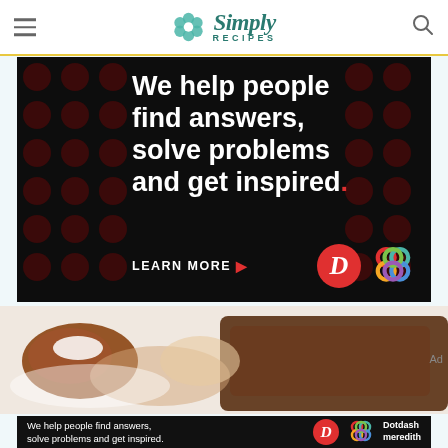Simply Recipes
[Figure (infographic): Dotdash Meredith advertisement banner: dark background with dark red polka dots pattern. Bold white text reads 'We help people find answers, solve problems and get inspired.' with a red period. Below: 'LEARN MORE' with red arrow. Dotdash D logo (red circle) and colorful interlocking rings logo.]
[Figure (photo): Partial photo of chocolate and cream pastries/cookies on a white surface, cropped.]
[Figure (infographic): Smaller Dotdash Meredith bottom banner: dark background, white text 'We help people find answers, solve problems and get inspired.' with D logo circle and colorful rings logo, and text 'Dotdash meredith'.]